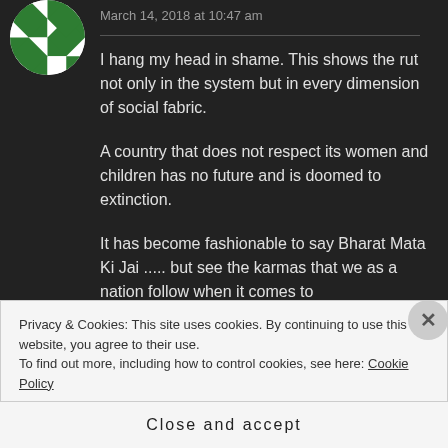[Figure (illustration): Green and white checkered circular avatar/profile picture]
March 14, 2018 at 10:47 am
I hang my head in shame. This shows the rut not only in the system but in every dimension of social fabric.
A country that does not respect its women and children has no future and is doomed to extinction.
It has become fashionable to say Bharat Mata Ki Jai ..... but see the karmas that we as a nation follow when it comes to
Privacy & Cookies: This site uses cookies. By continuing to use this website, you agree to their use.
To find out more, including how to control cookies, see here: Cookie Policy
Close and accept